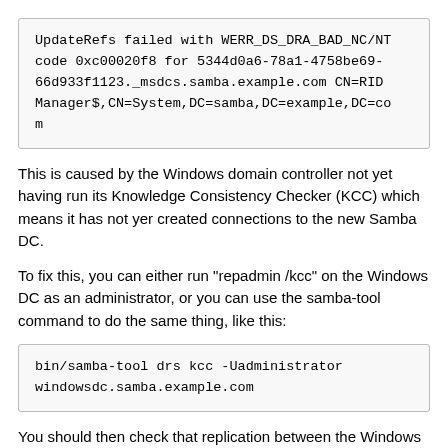UpdateRefs failed with WERR_DS_DRA_BAD_NC/NT code 0xc00020f8 for 5344d0a6-78a1-4758be69-66d933f1123._msdcs.samba.example.com CN=RID Manager$,CN=System,DC=samba,DC=example,DC=com
This is caused by the Windows domain controller not yet having run its Knowledge Consistency Checker (KCC) which means it has not yer created connections to the new Samba DC.
To fix this, you can either run "repadmin /kcc" on the Windows DC as an administrator, or you can use the samba-tool command to do the same thing, like this:
bin/samba-tool drs kcc -Uadministrator windowsdc.samba.example.com
You should then check that replication between the Windows DC